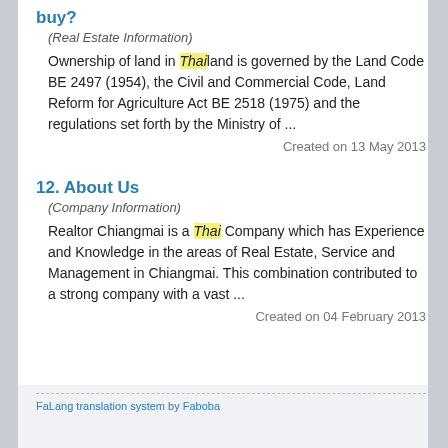buy?
(Real Estate Information)
Ownership of land in Thai land is governed by the Land Code BE 2497 (1954), the Civil and Commercial Code, Land Reform for Agriculture Act BE 2518 (1975) and the regulations set forth by the Ministry of ...
Created on 13 May 2013
12. About Us
(Company Information)
Realtor Chiangmai is a Thai Company which has Experience and Knowledge in the areas of Real Estate, Service and Management in Chiangmai. This combination contributed to a strong company with a vast ...
Created on 04 February 2013
FaLang translation system by Faboba